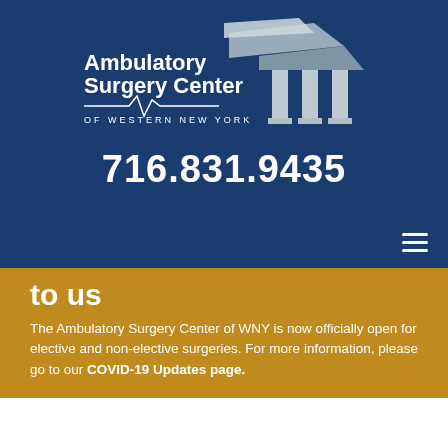[Figure (logo): Ambulatory Surgery Center of Western New York logo with building/pillars graphic]
716.831.9435
to us
The Ambulatory Surgery Center of WNY is now officially open for elective and non-elective surgeries. For more information, please go to our COVID-19 Updates page.